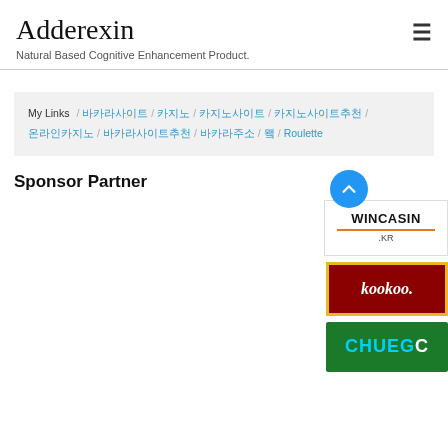Adderexin
Natural Based Cognitive Enhancement Product.
My Links / 바카라사이트 / 카지노 / 카지노사이트 / 카지노사이트추천 / 온라인카지노 / 바카라사이트추천 / 바카라주소 / 바카 / 룰렛 / Roulette
Sponsor Partner
[Figure (logo): WINCASIN .KR logo with orange underline]
[Figure (logo): kookoo. casino logo with red background and golden border]
[Figure (logo): CHUEGC casino logo with green background]